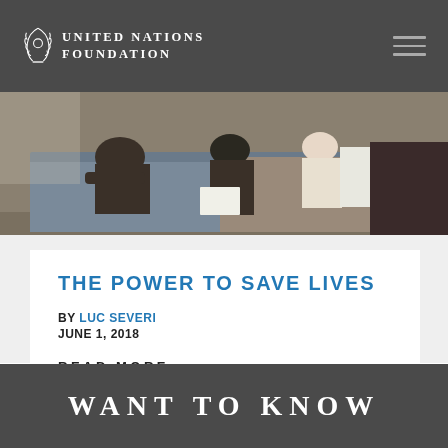UNITED NATIONS FOUNDATION
[Figure (photo): People sitting/lying on beds in a room, appears to be a healthcare or community setting]
THE POWER TO SAVE LIVES
BY LUC SEVERI
JUNE 1, 2018
READ MORE >>
WANT TO KNOW